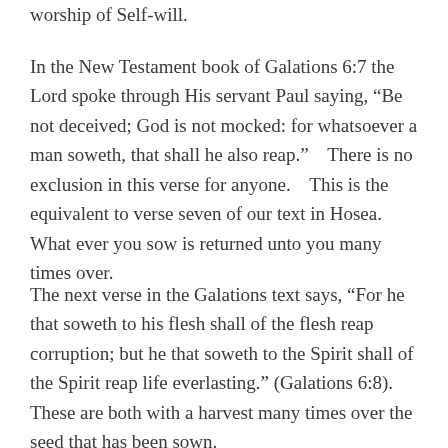worship of Self-will.
In the New Testament book of Galations 6:7 the Lord spoke through His servant Paul saying, “Be not deceived; God is not mocked: for whatsoever a man soweth, that shall he also reap.”  There is no exclusion in this verse for anyone.  This is the equivalent to verse seven of our text in Hosea.  What ever you sow is returned unto you many times over.
The next verse in the Galations text says, “For he that soweth to his flesh shall of the flesh reap corruption; but he that soweth to the Spirit shall of the Spirit reap life everlasting.” (Galations 6:8).  These are both with a harvest many times over the seed that has been sown.